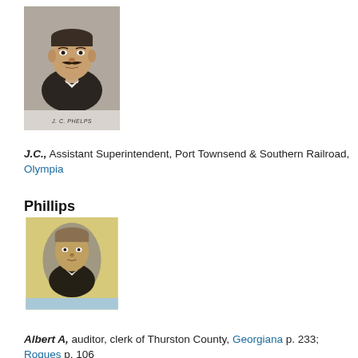[Figure (photo): Black and white portrait photograph of J.C. Phelps, a man with a mustache wearing a dark suit. Caption 'J. C. PHELPS' printed below the photo.]
J.C., Assistant Superintendent, Port Townsend & Southern Railroad, Olympia
Phillips
[Figure (photo): Sepia-toned oval portrait photograph of Albert A. Phillips, younger man, set on a cream/yellow background card with a light blue strip at the bottom.]
Albert A, auditor, clerk of Thurston County, Georgiana p. 233; Rogues p. 106